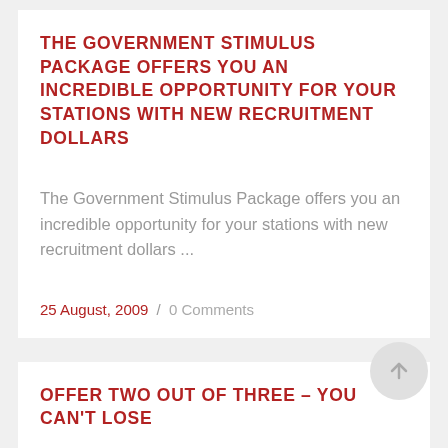THE GOVERNMENT STIMULUS PACKAGE OFFERS YOU AN INCREDIBLE OPPORTUNITY FOR YOUR STATIONS WITH NEW RECRUITMENT DOLLARS
The Government Stimulus Package offers you an incredible opportunity for your stations with new recruitment dollars ...
25 August, 2009 / 0 Comments
OFFER TWO OUT OF THREE – YOU CAN'T LOSE
Charlie Cohn of Hawaii shared a great negotiating tip with me